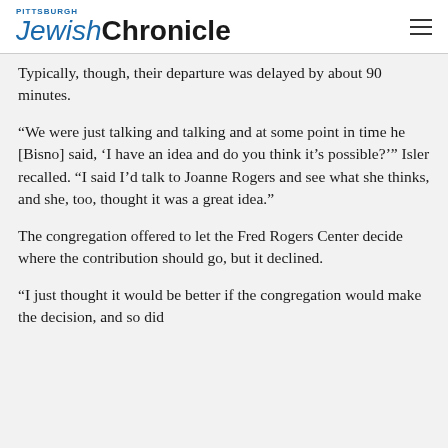Pittsburgh Jewish Chronicle
Typically, though, their departure was delayed by about 90 minutes.
“We were just talking and talking and at some point in time he [Bisno] said, ‘I have an idea and do you think it’s possible?’” Isler recalled. “I said I’d talk to Joanne Rogers and see what she thinks, and she, too, thought it was a great idea.”
The congregation offered to let the Fred Rogers Center decide where the contribution should go, but it declined.
“I just thought it would be better if the congregation would make the decision, and so did